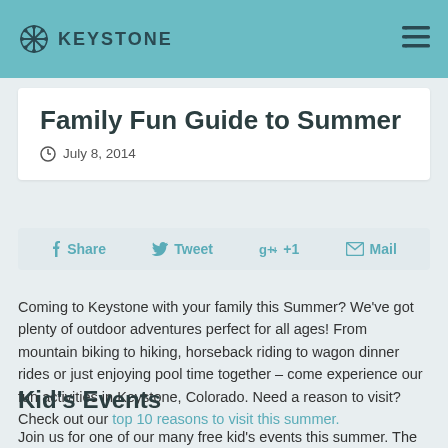KEYSTONE
Family Fun Guide to Summer
July 8, 2014
Share  Tweet  +1  Mail
Coming to Keystone with your family this Summer? We've got plenty of outdoor adventures perfect for all ages! From mountain biking to hiking, horseback riding to wagon dinner rides or just enjoying pool time together – come experience our fun activities in Keystone, Colorado. Need a reason to visit? Check out our top 10 reasons to visit this summer.
Kid's Events
Join us for one of our many free kid's events this summer. The